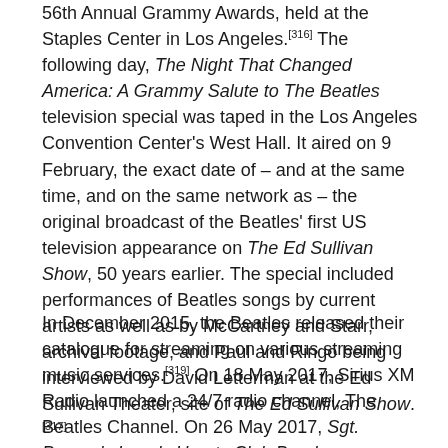56th Annual Grammy Awards, held at the Staples Center in Los Angeles.[316] The following day, The Night That Changed America: A Grammy Salute to The Beatles television special was taped in the Los Angeles Convention Center's West Hall. It aired on 9 February, the exact date of – and at the same time, and on the same network as – the original broadcast of the Beatles' first US television appearance on The Ed Sullivan Show, 50 years earlier. The special included performances of Beatles songs by current artists as well as by McCartney and Starr, archival footage, and Paul and Ringo being interviewed by David Letterman at the Ed Sullivan Theater, site of The Ed Sullivan Show.[317][318]
In December 2015, the Beatles released their catalogue for streaming on various streaming music services.[319] On 18 May 2017, Sirius XM Radio launched a 24/7 radio channel, The Beatles Channel. On 26 May 2017, Sgt. Pepper's Lonely Hearts Club Band was reissued with new stereo mixes and...